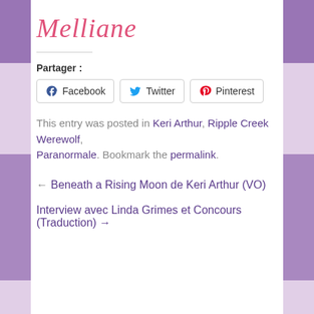Melliane
Partager :
Facebook  Twitter  Pinterest
This entry was posted in Keri Arthur, Ripple Creek Werewolf, Paranormale. Bookmark the permalink.
← Beneath a Rising Moon de Keri Arthur (VO)
Interview avec Linda Grimes et Concours (Traduction) →